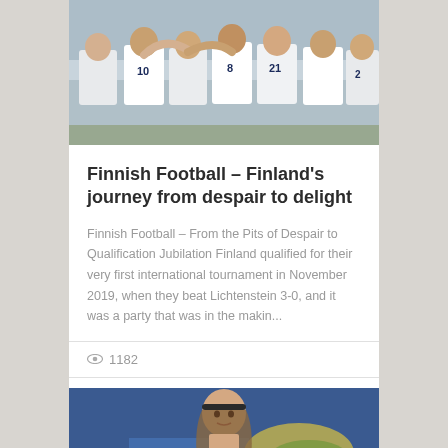[Figure (photo): Finland national football team players in white uniforms celebrating together on the pitch, jersey numbers visible including 10, 8, 21]
Finnish Football – Finland's journey from despair to delight
Finnish Football – From the Pits of Despair to Qualification Jubilation Finland qualified for their very first international tournament in November 2019, when they beat Lichtenstein 3-0, and it was a party that was in the makin...
1182
[Figure (photo): A Finnish footballer with long hair and a headband, photographed against a blue background with a yellow/green element visible]